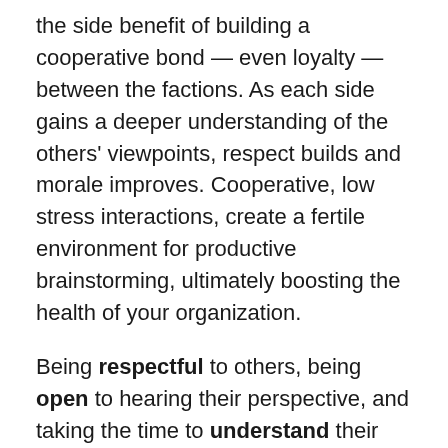the side benefit of building a cooperative bond — even loyalty — between the factions. As each side gains a deeper understanding of the others' viewpoints, respect builds and morale improves. Cooperative, low stress interactions, create a fertile environment for productive brainstorming, ultimately boosting the health of your organization.
Being respectful to others, being open to hearing their perspective, and taking the time to understand their objective are very important, but you'll need more knowledge in your toolkit to dispel conflict when the conflict gets tough. So, let's dig deeper today.
How can you demonstrate that you are being respectful and open and trying to understand the other's perspective?
Here are the top 5 proven techniques you can add to your